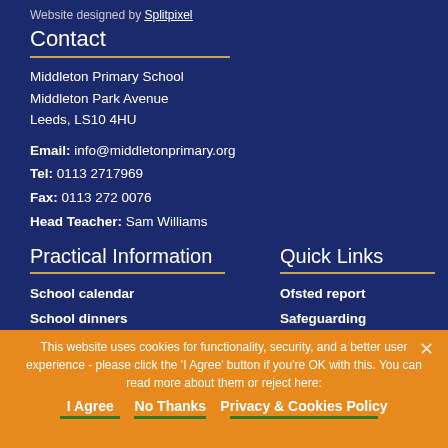Website designed by Splitpixel
Contact
Middleton Primary School
Middleton Park Avenue
Leeds, LS10 4HU
Email: info@middletonprimary.org
Tel: 0113 2717969
Fax: 0113 272 0076
Head Teacher: Sam Williams
Practical Information
Quick Links
School calendar
School dinners
Ofsted report
Safeguarding
This website uses cookies for functionality, security, and a better user experience - please click the 'I Agree' button if you're OK with this. You can read more about them or reject here:
I Agree   No Thanks   Privacy & Cookies Policy